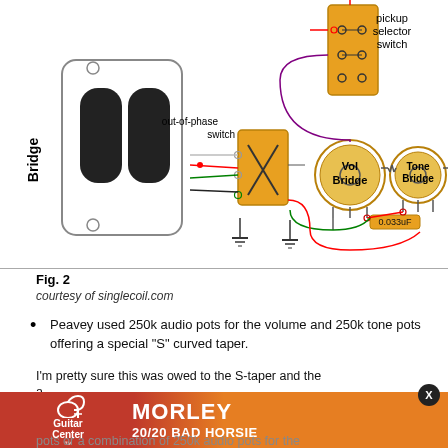[Figure (schematic): Guitar wiring schematic showing Bridge pickup connected to out-of-phase switch, pickup selector switch, Vol Bridge pot, Tone Bridge pot with 0.033uF capacitor. Wires in red, green, black, white, purple colors.]
Fig. 2
courtesy of singlecoil.com
Peavey used 250k audio pots for the volume and 250k tone pots offering a special "S" curved taper.
I'm pretty sure this was owed to the S-taper and the a... ould e... kers. N... audio pots or a combination of 250k audio pots for the